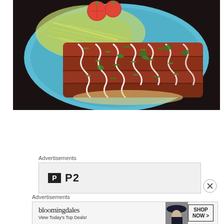[Figure (photo): Overhead view of enchiladas on a turquoise/blue plate, drizzled with white cream sauce and garnished with cilantro and green onions, with shredded cabbage salad and cherry tomatoes on the side, against a dark background.]
Advertisements
[Figure (logo): P2 logo: dark square icon with letter P and text P2 in bold black]
[Figure (other): Close button (X circle icon)]
Advertisements
[Figure (other): Bloomingdale's advertisement banner: 'bloomingdales / View Today's Top Deals!' with a woman in a wide brim hat and a SHOP NOW > button]